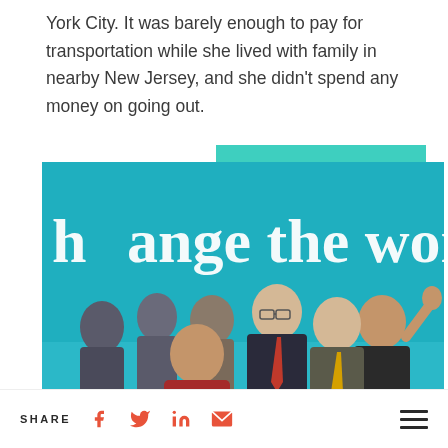York City. It was barely enough to pay for transportation while she lived with family in nearby New Jersey, and she didn't spend any money on going out.
[Figure (photo): Group of people at the New York Stock Exchange bell ringing ceremony, standing in front of a teal banner reading 'change the world'. A young woman in a red jacket is prominent in the foreground. A New York Stock Exchange sign is visible on the right side.]
SHARE [Facebook] [Twitter] [LinkedIn] [Email] [Menu]